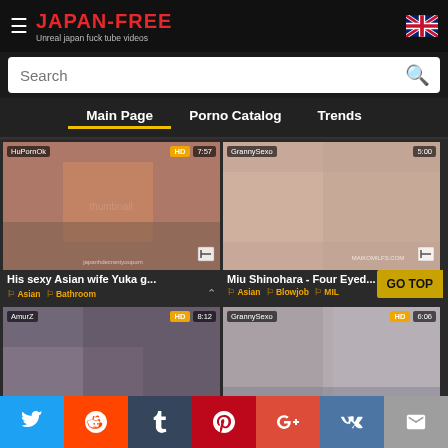JAPAN-FREE — Unreal japan fuck tube videos
Search
Main Page | Porno Catalog | Trends
[Figure (screenshot): Video thumbnail 1: His sexy Asian wife Yuka g... — source: HuPornOk, HD, 7:57]
[Figure (screenshot): Video thumbnail 2: Miu Shinohara - Four Eyed... — source: GrannySexo, 5:00]
His sexy Asian wife Yuka g...
Miu Shinohara - Four Eyed...
Asian  Bathroom
Asian  Blowjob  MIL...
[Figure (screenshot): Video thumbnail 3: AmurZ, HD, 8:12]
[Figure (screenshot): Video thumbnail 4: GrannySexo, HD, 6:06]